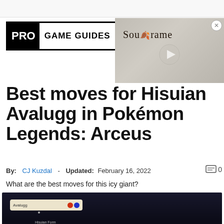[Figure (logo): Pro Game Guides logo: black box with PRO and bordered box with GAME GUIDES text]
[Figure (screenshot): Soulframe video thumbnail with decorative font text SoulFrame and play button overlay, stone/parchment texture background]
Best moves for Hisuian Avalugg in Pokémon Legends: Arceus
By: CJ Kuzdal - Updated: February 16, 2022
What are the best moves for this icy giant?
[Figure (screenshot): In-game screenshot of Pokémon Legends: Arceus showing Avalugg Pokédex entry screen with Hisuian Form label, dark background with faint Pokémon silhouette]